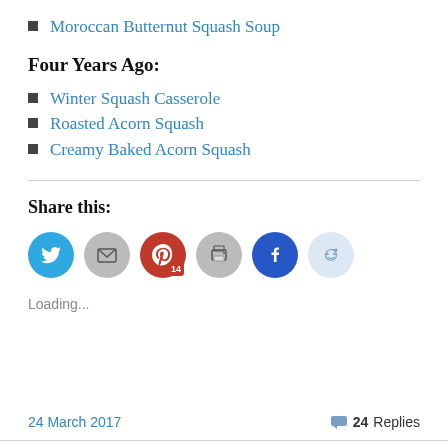Moroccan Butternut Squash Soup
Four Years Ago:
Winter Squash Casserole
Roasted Acorn Squash
Creamy Baked Acorn Squash
Share this:
[Figure (infographic): Social share buttons: Twitter (blue circle), Email (gray circle), Pinterest (red circle with badge 14), Print (gray circle), Facebook (blue circle), Reddit (light blue circle)]
Loading...
24 March 2017   24 Replies